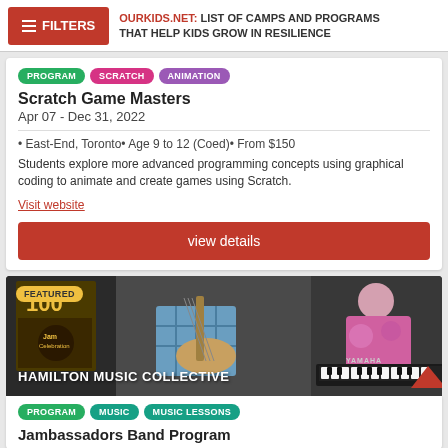OURKIDS.NET: LIST OF CAMPS AND PROGRAMS THAT HELP KIDS GROW IN RESILIENCE
PROGRAM | SCRATCH | ANIMATION
Scratch Game Masters
Apr 07 - Dec 31, 2022
• East-End, Toronto• Age 9 to 12 (Coed)• From $150
Students explore more advanced programming concepts using graphical coding to animate and create games using Scratch.
Visit website
view details
[Figure (photo): Stage photo showing musicians playing guitar and keyboard, with Hamilton Music Collective label and FEATURED badge]
PROGRAM | MUSIC | MUSIC LESSONS
Jambassadors Band Program